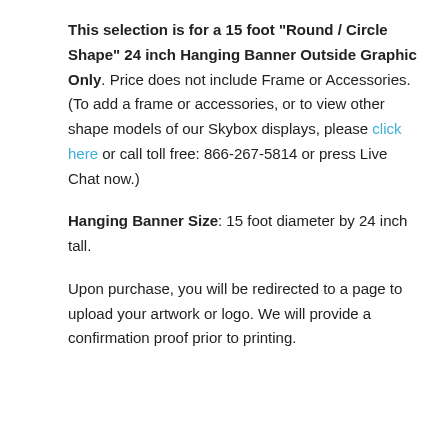This selection is for a 15 foot "Round / Circle Shape" 24 inch Hanging Banner Outside Graphic Only. Price does not include Frame or Accessories. (To add a frame or accessories, or to view other shape models of our Skybox displays, please click here or call toll free: 866-267-5814 or press Live Chat now.)
Hanging Banner Size: 15 foot diameter by 24 inch tall.
Upon purchase, you will be redirected to a page to upload your artwork or logo. We will provide a confirmation proof prior to printing.